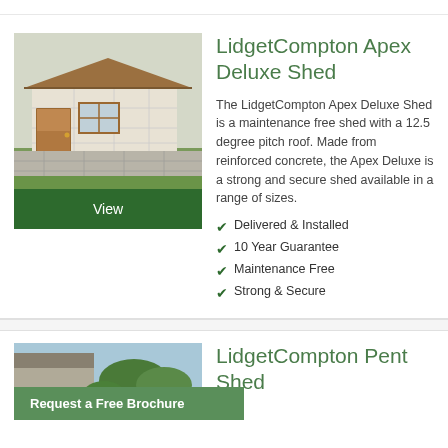[Figure (photo): Photo of LidgetCompton Apex Deluxe concrete shed with wooden door and window, set in a garden]
LidgetCompton Apex Deluxe Shed
The LidgetCompton Apex Deluxe Shed is a maintenance free shed with a 12.5 degree pitch roof. Made from reinforced concrete, the Apex Deluxe is a strong and secure shed available in a range of sizes.
Delivered & Installed
10 Year Guarantee
Maintenance Free
Strong & Secure
[Figure (photo): Partial photo of LidgetCompton Pent Shed at the bottom of the page]
LidgetCompton Pent Shed
Request a Free Brochure